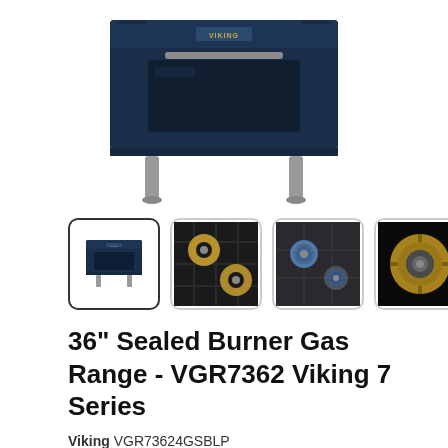[Figure (photo): Viking 7 Series 36-inch dark blue sealed burner gas range, front view, with stainless steel legs, shown cropped from top half]
[Figure (photo): Thumbnail 1: Small front view of Viking blue gas range (selected/active)]
[Figure (photo): Thumbnail 2: Close-up of gas burners on cooktop with grates, top-down view]
[Figure (photo): Thumbnail 3: Close-up of lit gas burners with blue flame]
[Figure (photo): Thumbnail 4: Close-up detail of a single burner cap/brass ring on dark background]
36" Sealed Burner Gas Range - VGR7362 Viking 7 Series
Viking VGR73624GSBLP